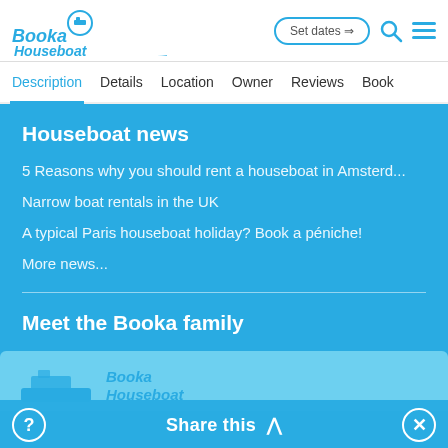[Figure (logo): Booka Houseboat logo with boat icon in blue cursive text]
Set dates → [search icon] [menu icon]
Description | Details | Location | Owner | Reviews | Book
Houseboat news
5 Reasons why you should rent a houseboat in Amsterd...
Narrow boat rentals in the UK
A typical Paris houseboat holiday? Book a péniche!
More news...
Meet the Booka family
[Figure (logo): Booka Houseboat logo card at bottom of blue section]
Share this ∧